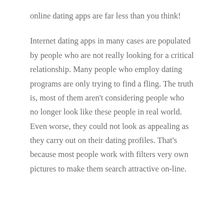online dating apps are far less than you think!
Internet dating apps in many cases are populated by people who are not really looking for a critical relationship. Many people who employ dating programs are only trying to find a fling. The truth is, most of them aren't considering people who no longer look like these people in real world. Even worse, they could not look as appealing as they carry out on their dating profiles. That's because most people work with filters very own pictures to make them search attractive on-line.